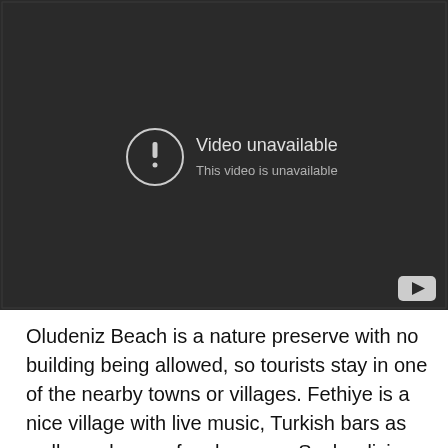[Figure (screenshot): YouTube video embed showing 'Video unavailable' error message. Dark background with a circular exclamation mark icon and text reading 'Video unavailable' and 'This video is unavailable'. YouTube logo button in bottom right corner.]
Oludeniz Beach is a nature preserve with no building being allowed, so tourists stay in one of the nearby towns or villages. Fethiye is a nice village with live music, Turkish bars as well as a bazaar for shoppers. Scuba diving